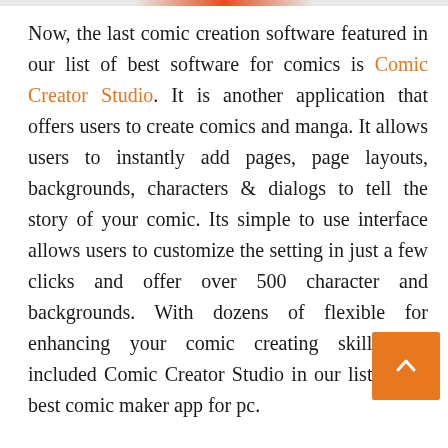Now, the last comic creation software featured in our list of best software for comics is Comic Creator Studio. It is another application that offers users to create comics and manga. It allows users to instantly add pages, page layouts, backgrounds, characters & dialogs to tell the story of your comic. Its simple to use interface allows users to customize the setting in just a few clicks and offer over 500 character and backgrounds. With dozens of flexible for enhancing your comic creating skills, we included Comic Creator Studio in our list of the best comic maker app for pc.